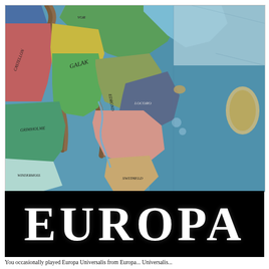[Figure (map): Colorful historical/fantasy map showing territories labeled with names such as GALAK, GRIMHOLME, and others, rendered in a video game art style (Europa Universalis style). The map shows land territories in various colors (green, red, pink, teal, yellow, purple, blue) separated by brown mountain ridges, with a blue ocean/sea area on the right side.]
EUROPA
You occasionally played Europa Universalis from Europa... Universalis...